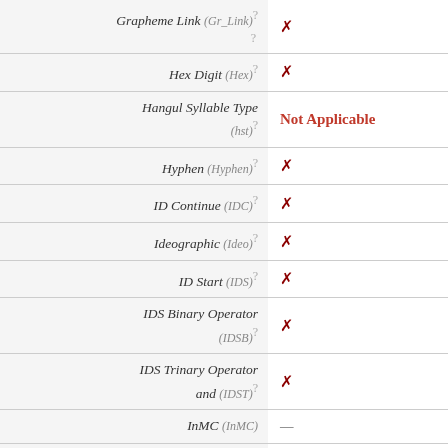| Property | Value |
| --- | --- |
| Grapheme Link (Gr_Link) ? | ✗ |
| Hex Digit (Hex) ? | ✗ |
| Hangul Syllable Type (hst) ? | Not Applicable |
| Hyphen (Hyphen) ? | ✗ |
| ID Continue (IDC) ? | ✗ |
| Ideographic (Ideo) ? | ✗ |
| ID Start (IDS) ? | ✗ |
| IDS Binary Operator (IDSB) ? | ✗ |
| IDS Trinary Operator and (IDST) ? | ✗ |
| InMC (InMC) | — |
| Indic Positional Category (InPC) ? | NA |
| Indic Syllabic Category | Other |